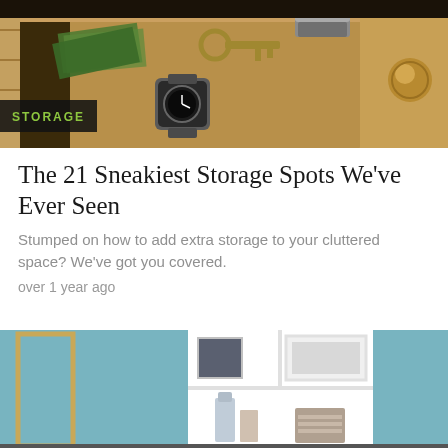[Figure (photo): Close-up photo of an open wooden drawer containing a key, watch, paper money, and a metal clip/stapler. The drawer has a wooden knob on the right side.]
STORAGE
The 21 Sneakiest Storage Spots We've Ever Seen
Stumped on how to add extra storage to your cluttered space? We've got you covered.
over 1 year ago
[Figure (photo): Photo of a built-in wall shelf unit with a blue/teal wall color. The shelving contains a small framed photo, a white framed picture, a decorative bottle, and a wooden box. A wooden picture frame is visible on the left wall.]